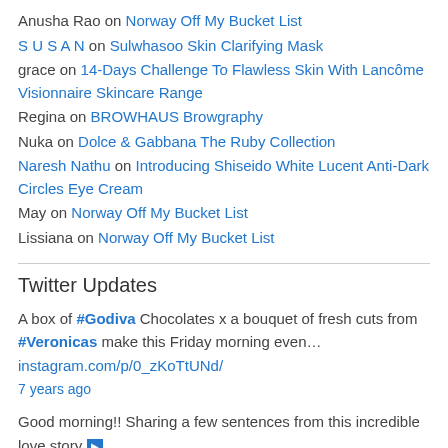Anusha Rao on Norway Off My Bucket List
S U S A N on Sulwhasoo Skin Clarifying Mask
grace on 14-Days Challenge To Flawless Skin With Lancôme Visionnaire Skincare Range
Regina on BROWHAUS Browgraphy
Nuka on Dolce & Gabbana The Ruby Collection
Naresh Nathu on Introducing Shiseido White Lucent Anti-Dark Circles Eye Cream
May on Norway Off My Bucket List
Lissiana on Norway Off My Bucket List
Twitter Updates
A box of #Godiva Chocolates x a bouquet of fresh cuts from #Veronicas make this Friday morning even… instagram.com/p/0_zKoTtUNd/ 7 years ago
Good morning!! Sharing a few sentences from this incredible love story ▶ "A successful marriage… instagram.com/p/09HkY3tUEq/ 7 years ago